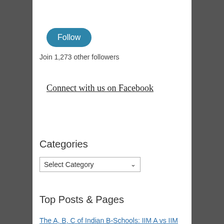[Figure (other): Blue rounded Follow button]
Join 1,273 other followers
Connect with us on Facebook
Categories
[Figure (other): Select Category dropdown]
Top Posts & Pages
The A, B, C of Indian B-Schools: IIM A vs IIM B vs IIM C
New IIMs – To join or not to join!!